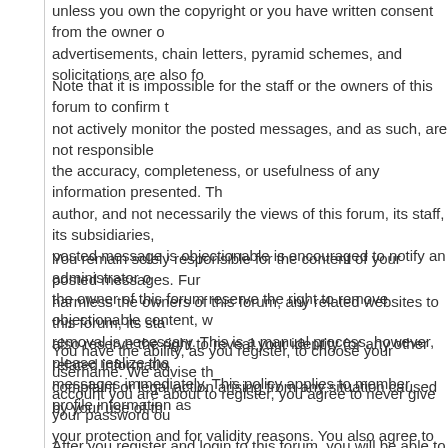unless you own the copyright or you have written consent from the owner of advertisements, chain letters, pyramid schemes, and solicitations are also fo
Note that it is impossible for the staff or the owners of this forum to confirm t not actively monitor the posted messages, and as such, are not responsible the accuracy, completeness, or usefulness of any information presented. Th author, and not necessarily the views of this forum, its staff, its subsidiaries, posted message is objectionable is encouraged to notify an administrator o the owner of this forum reserve the right to remove objectionable content, w removal is necessary. This is a manual process, however, please realize tha messages immediately. This policy applies to member profile information as
You remain solely responsible for the content of your posted messages. Fur harmless the owners of this forum, any related websites to this forum, its sta also reserve the right to reveal your identity (or any other related informatio complaint or legal action arising from any situation caused by your use of th
You have the ability, as you register, to choose your username. We advise th account you are about to register, you agree to never give your password ou your protection and for validity reasons. You also agree to NEVER use anoth HIGHLY recommend you use a complex and unique password for your acco
After you register and login to this forum, you will be able to fill out a detailed and accurate information. Any information the forum owner or staff determin removed, with or without prior notice. Appropriate sanctions may be applicab
Please note that with each post, your IP address is recorded, in the event th ISP contacted. This will only happen in the event of a major violation of this